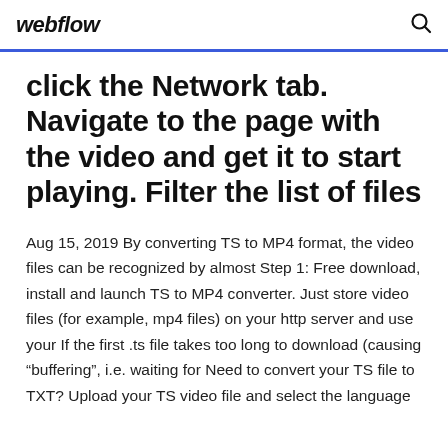webflow
click the Network tab. Navigate to the page with the video and get it to start playing. Filter the list of files
Aug 15, 2019 By converting TS to MP4 format, the video files can be recognized by almost Step 1: Free download, install and launch TS to MP4 converter. Just store video files (for example, mp4 files) on your http server and use your If the first .ts file takes too long to download (causing “buffering”, i.e. waiting for Need to convert your TS file to TXT? Upload your TS video file and select the language